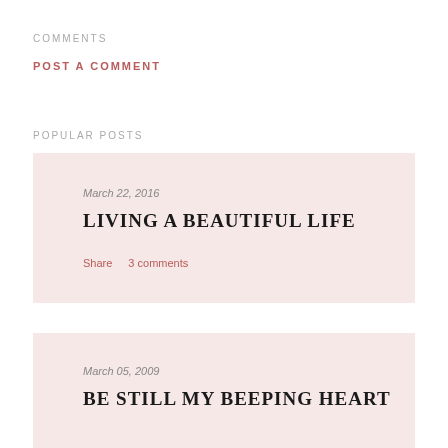COMMENTS
POST A COMMENT
POPULAR POSTS
March 22, 2016
LIVING A BEAUTIFUL LIFE
Share   3 comments
March 05, 2009
BE STILL MY BEEPING HEART